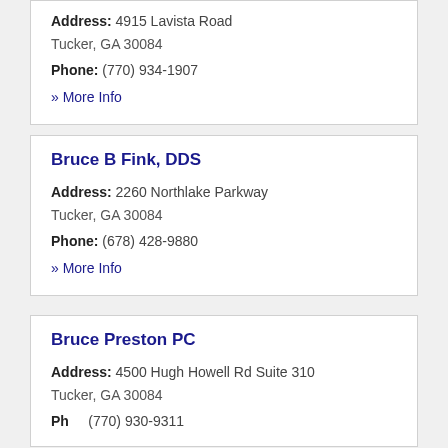Address: 4915 Lavista Road
Tucker, GA 30084
Phone: (770) 934-1907
» More Info
Bruce B Fink, DDS
Address: 2260 Northlake Parkway
Tucker, GA 30084
Phone: (678) 428-9880
» More Info
Bruce Preston PC
Address: 4500 Hugh Howell Rd Suite 310
Tucker, GA 30084
Phone: (770) ...